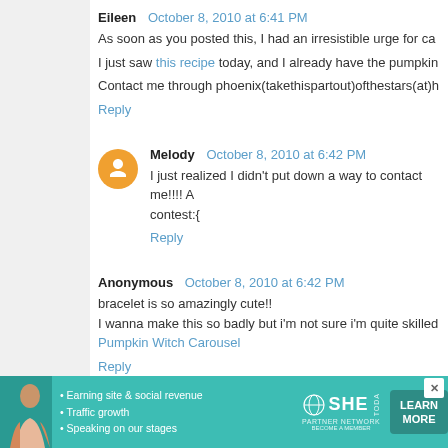Eileen  October 8, 2010 at 6:41 PM
As soon as you posted this, I had an irresistible urge for ca
I just saw this recipe today, and I already have the pumpkin
Contact me through phoenix(takethispartout)ofthestars(at)h
Reply
Melody  October 8, 2010 at 6:42 PM
I just realized I didn't put down a way to contact me!!!! A contest:{
Reply
Anonymous  October 8, 2010 at 6:42 PM
bracelet is so amazingly cute!! I wanna make this so badly but i'm not sure i'm quite skilled Pumpkin Witch Carousel
Reply
[Figure (infographic): SHE Partner Network advertisement banner in teal color with photo of woman, bullet points about earning site & social revenue, traffic growth, speaking on stages, SHE Partner Network logo, and LEARN MORE button]